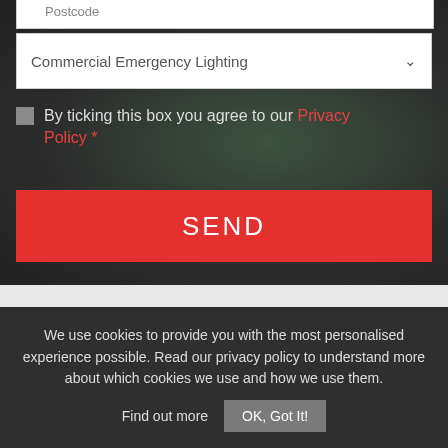[Figure (screenshot): Dark background section of a web form with a blurred dark/green background image overlay]
Postcode
Commercial Emergency Lighting
By ticking this box you agree to our Privacy Policy *
SEND
We use cookies to provide you with the most personalised experience possible. Read our privacy policy to understand more about which cookies we use and how we use them. Find out more  OK, Got It!